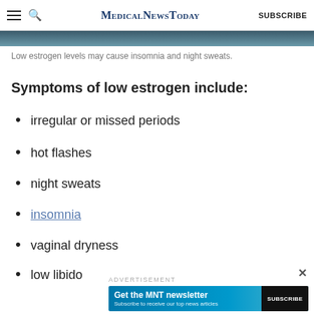MedicalNewsToday  SUBSCRIBE
[Figure (photo): Partial photo of a person, dark background, cropped at top of content area]
Low estrogen levels may cause insomnia and night sweats.
Symptoms of low estrogen include:
irregular or missed periods
hot flashes
night sweats
insomnia
vaginal dryness
low libido
ADVERTISEMENT
[Figure (screenshot): MNT newsletter subscription banner ad: 'Get the MNT newsletter — Subscribe to receive our top news articles' with a SUBSCRIBE button]